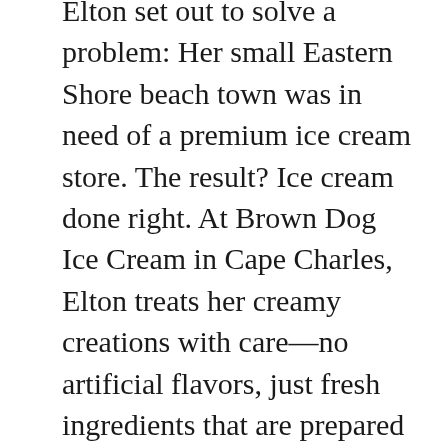Elton set out to solve a problem: Her small Eastern Shore beach town was in need of a premium ice cream store. The result? Ice cream done right. At Brown Dog Ice Cream in Cape Charles, Elton treats her creamy creations with care—no artificial flavors, just fresh ingredients that are prepared and cooked for you to see and feel and taste.
The varieties on offer at Brown Dog Ice Cream, like beet and goat cheese with pistachio, or avocado with strawberry, lime and jalapeno,